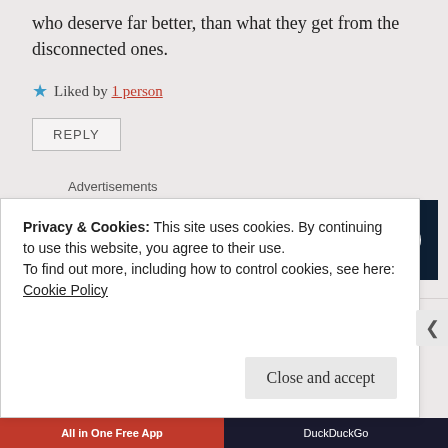who deserve far better, than what they get from the disconnected ones.
Liked by 1 person
REPLY
Advertisements
[Figure (infographic): Dark navy advertisement banner reading 'Opinions. We all have them!' with WordPress and Fresh Views logos on the right.]
Privacy & Cookies: This site uses cookies. By continuing to use this website, you agree to their use.
To find out more, including how to control cookies, see here: Cookie Policy
Close and accept